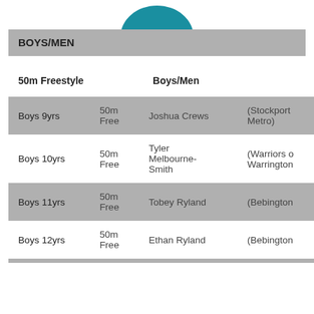[Figure (logo): Teal/blue partial logo at top of page]
BOYS/MEN
| 50m Freestyle |  | Boys/Men |  |
| --- | --- | --- | --- |
| Boys 9yrs | 50m Free | Joshua Crews | (Stockport Metro) |
| Boys 10yrs | 50m Free | Tyler Melbourne-Smith | (Warriors of Warrington) |
| Boys 11yrs | 50m Free | Tobey Ryland | (Bebington |
| Boys 12yrs | 50m Free | Ethan Ryland | (Bebington |